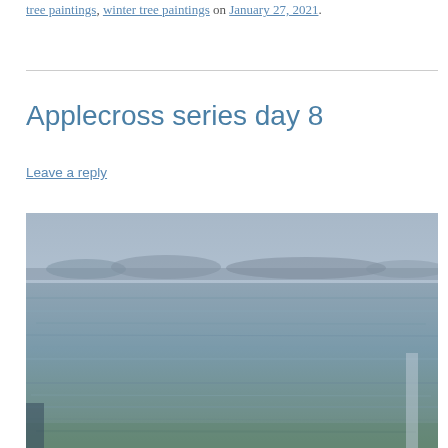tree paintings, winter tree paintings on January 27, 2021.
Applecross series day 8
Leave a reply
[Figure (illustration): A landscape painting in muted blue-grey tones showing a still body of water with a distant shoreline and trees, rendered in an impressionistic style.]